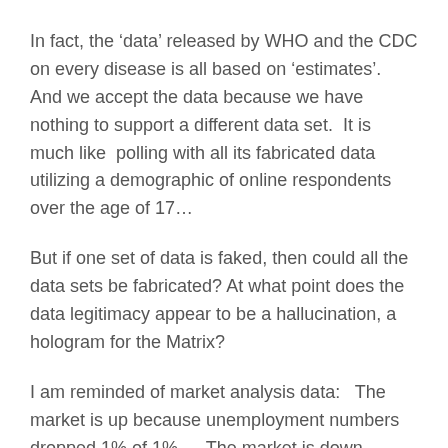In fact, the ‘data’ released by WHO and the CDC on every disease is all based on ‘estimates’.   And we accept the data because we have nothing to support a different data set.  It is much like  polling with all its fabricated data utilizing a demographic of online respondents over the age of 17…
But if one set of data is faked, then could all the data sets be fabricated? At what point does the data legitimacy appear to be a hallucination, a hologram for the Matrix?
I am reminded of market analysis data:   The market is up because unemployment numbers dropped 1% of 1%…. The market is down because unemployment numbers were shy…   Does “The Market” really care about either?   The market cares about the state of the economy, not a one day data factor. Hopefully.   But we dutifully read and react.
As the depth of false information, corrupted